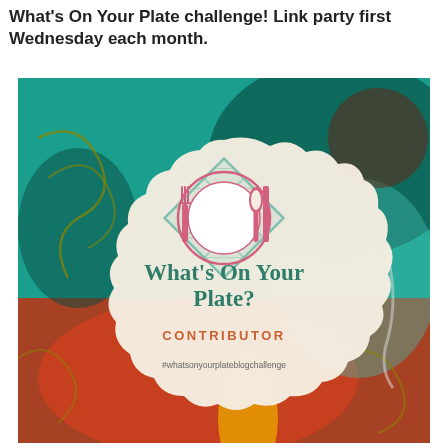What's On Your Plate challenge! Link party first Wednesday each month.
[Figure (illustration): Circular badge/logo on abstract colorful painted background. Badge shows a plate with fork, knife and spoon, on a diamond-shaped green checkered napkin. Text reads 'What's On Your Plate?' in green serif font, 'CONTRIBUTOR' in orange uppercase, and '#whatsonyourplateblogchallenge' in small gray text.]